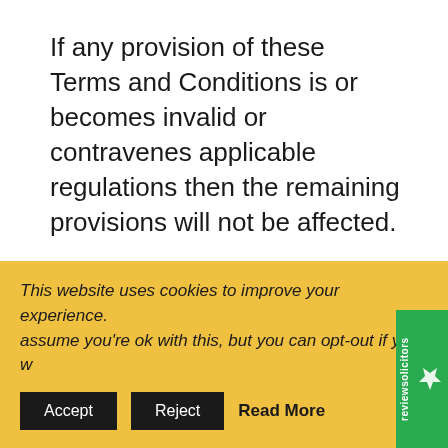If any provision of these Terms and Conditions is or becomes invalid or contravenes applicable regulations then the remaining provisions will not be affected.
Waiver
No waiver by us of any breach of these Ter…
This website uses cookies to improve your experience. assume you're ok with this, but you can opt-out if you w
Accept   Reject   Read More